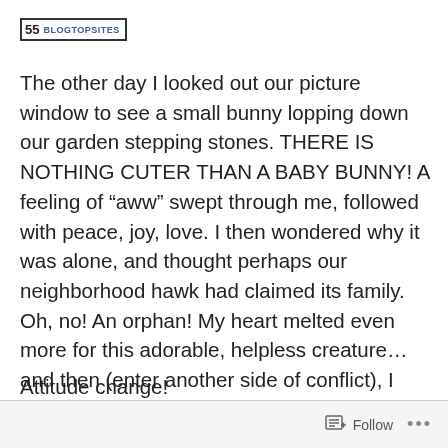55 BLOGTOPSITES
The other day I looked out our picture window to see a small bunny lopping down our garden stepping stones. THERE IS NOTHING CUTER THAN A BABY BUNNY! A feeling of “aww” swept through me, followed with peace, joy, love. I then wondered why it was alone, and thought perhaps our neighborhood hawk had claimed its family. Oh, no! An orphan! My heart melted even more for this adorable, helpless creature… and then (enter another side of conflict), I remembered that the day before, I planted eight lettuce transplants in my backyard.
Attitude change!
Follow •••